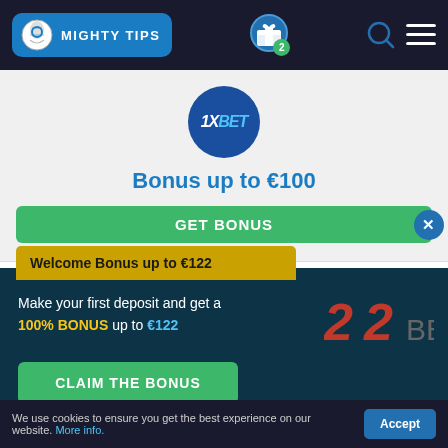MIGHTY TIPS — navigation header with gift icon (badge: 2), search icon, hamburger menu
[Figure (logo): 1XBET circular logo on dark blue background]
Bonus up to €100
GET BONUS
Welcome Bonus up to €122
Make your first deposit and get a 100% BONUS up to €122
[Figure (logo): 22BET logo in red and grey]
CLAIM THE BONUS
We use cookies to ensure you get the best experience on our website. More info.  [Accept]